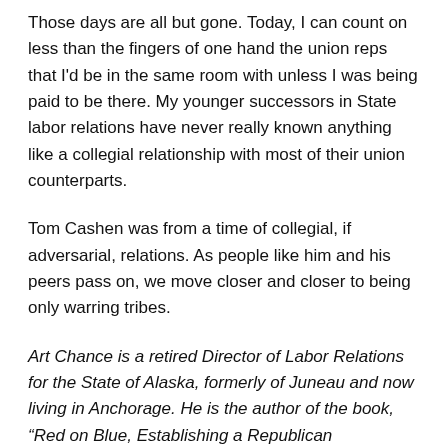Those days are all but gone. Today, I can count on less than the fingers of one hand the union reps that I'd be in the same room with unless I was being paid to be there. My younger successors in State labor relations have never really known anything like a collegial relationship with most of their union counterparts.
Tom Cashen was from a time of collegial, if adversarial, relations. As people like him and his peers pass on, we move closer and closer to being only warring tribes.
Art Chance is a retired Director of Labor Relations for the State of Alaska, formerly of Juneau and now living in Anchorage. He is the author of the book, “Red on Blue, Establishing a Republican Governance,” available at Amazon.